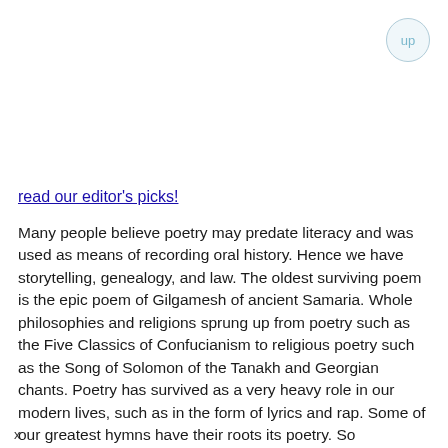up
read our editor's picks!
Many people believe poetry may predate literacy and was used as means of recording oral history. Hence we have storytelling, genealogy, and law. The oldest surviving poem is the epic poem of Gilgamesh of ancient Samaria. Whole philosophies and religions sprung up from poetry such as the Five Classics of Confucianism to religious poetry such as the Song of Solomon of the Tanakh and Georgian chants. Poetry has survived as a very heavy role in our modern lives, such as in the form of lyrics and rap. Some of our greatest hymns have their roots its poetry. So
x